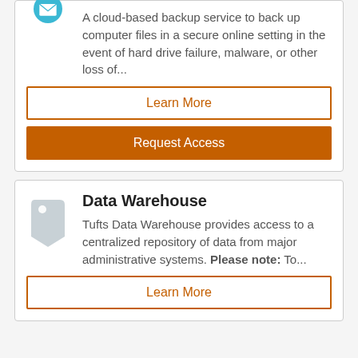A cloud-based backup service to back up computer files in a secure online setting in the event of hard drive failure, malware, or other loss of...
Learn More
Request Access
Data Warehouse
Tufts Data Warehouse provides access to a centralized repository of data from major administrative systems. Please note: To...
Learn More